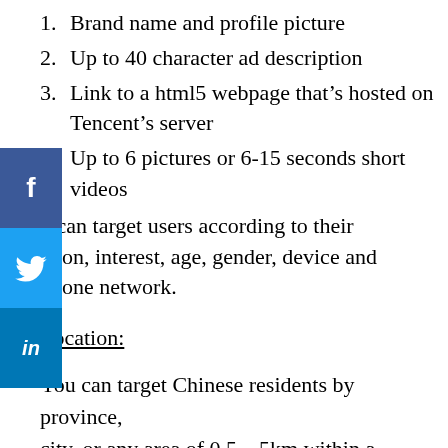1. Brand name and profile picture
2. Up to 40 character ad description
3. Link to a html5 webpage that’s hosted on Tencent’s server
4. Up to 6 pictures or 6-15 seconds short videos
You can target users according to their location, interest, age, gender, device and phone network.
Location:
You can target Chinese residents by province, city, or any area of 0.5 – 5km within a